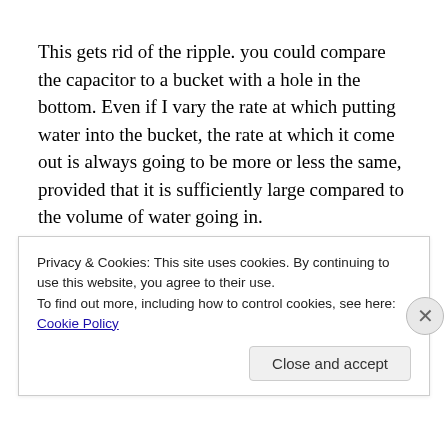This gets rid of the ripple. you could compare the capacitor to a bucket with a hole in the bottom. Even if I vary the rate at which putting water into the bucket, the rate at which it come out is always going to be more or less the same, provided that it is sufficiently large compared to the volume of water going in.
However, its impossible to get an absolutely perfect DC output with this setup. because the ammount of charge on
Privacy & Cookies: This site uses cookies. By continuing to use this website, you agree to their use.
To find out more, including how to control cookies, see here: Cookie Policy